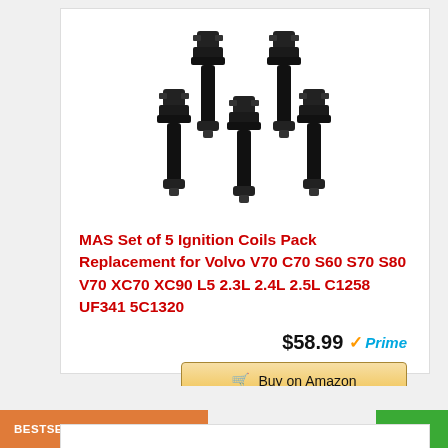[Figure (photo): Five black ignition coil packs arranged in a group photo against white background]
MAS Set of 5 Ignition Coils Pack Replacement for Volvo V70 C70 S60 S70 S80 V70 XC70 XC90 L5 2.3L 2.4L 2.5L C1258 UF341 5C1320
$58.99 Prime
Buy on Amazon
BESTSELLER NO. 6
SALE